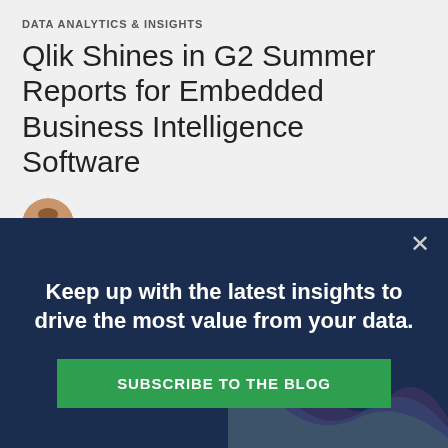DATA ANALYTICS & INSIGHTS
Qlik Shines in G2 Summer Reports for Embedded Business Intelligence Software
Catherine Frye  |  2 min read
[Figure (infographic): Dark navy promotional banner with text 'Keep up with the latest insights to drive the most value from your data.' and a green 'SUBSCRIBE TO THE BLOG' button. Background has abstract wave/chart decorations. A close (X) button in top right corner.]